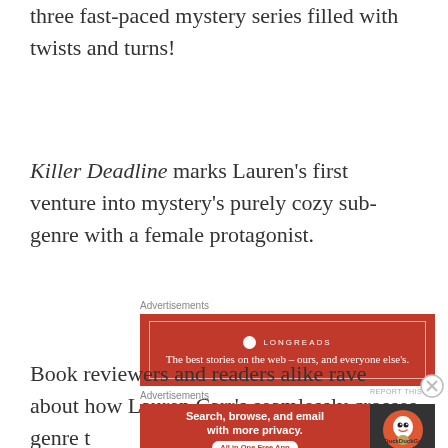three fast-paced mystery series filled with twists and turns!
Killer Deadline marks Lauren's first venture into mystery's purely cozy sub-genre with a female protagonist.
[Figure (other): Longreads advertisement banner: red background with white border and text 'The best stories on the web – ours, and everyone else's.']
Book reviewers and readers alike rave about how Lauren Carr's seamlessly crosses genre t
[Figure (other): DuckDuckGo advertisement: red left panel with 'Search, browse, and email with more privacy. All in One Free App' and dark right panel with DuckDuckGo logo.]